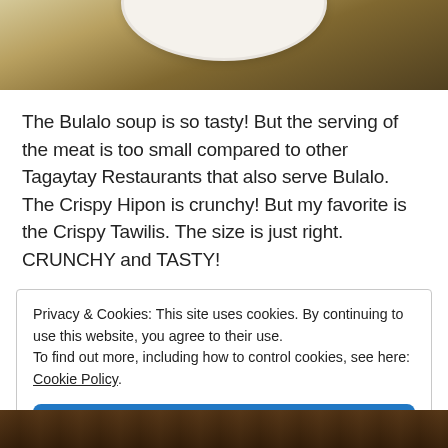[Figure (photo): Top portion of a food photo showing a plate/bowl with food, warm brown tones]
The Bulalo soup is so tasty! But the serving of the meat is too small compared to other Tagaytay Restaurants that also serve Bulalo. The Crispy Hipon is crunchy! But my favorite is the Crispy Tawilis. The size is just right. CRUNCHY and TASTY!
Privacy & Cookies: This site uses cookies. By continuing to use this website, you agree to their use.
To find out more, including how to control cookies, see here: Cookie Policy
Close and accept
[Figure (photo): Bottom portion of a food photo, dark brown tones]